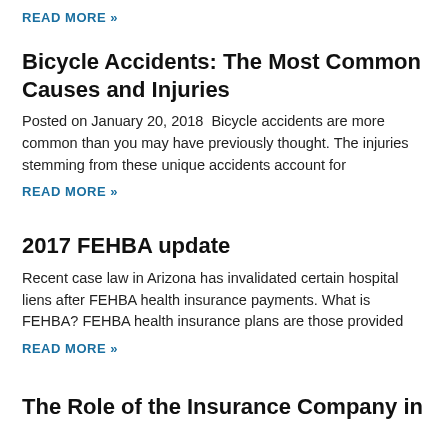READ MORE »
Bicycle Accidents: The Most Common Causes and Injuries
Posted on January 20, 2018  Bicycle accidents are more common than you may have previously thought. The injuries stemming from these unique accidents account for
READ MORE »
2017 FEHBA update
Recent case law in Arizona has invalidated certain hospital liens after FEHBA health insurance payments. What is FEHBA? FEHBA health insurance plans are those provided
READ MORE »
The Role of the Insurance Company in